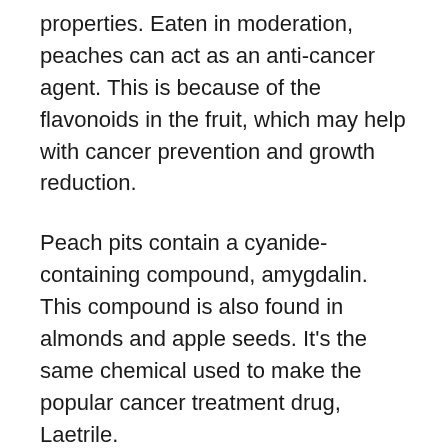properties. Eaten in moderation, peaches can act as an anti-cancer agent. This is because of the flavonoids in the fruit, which may help with cancer prevention and growth reduction.
Peach pits contain a cyanide-containing compound, amygdalin. This compound is also found in almonds and apple seeds. It's the same chemical used to make the popular cancer treatment drug, Laetrile.
Can Dogs Eat Peach Jam?
The quick answer is no, but it's more complicated than that.